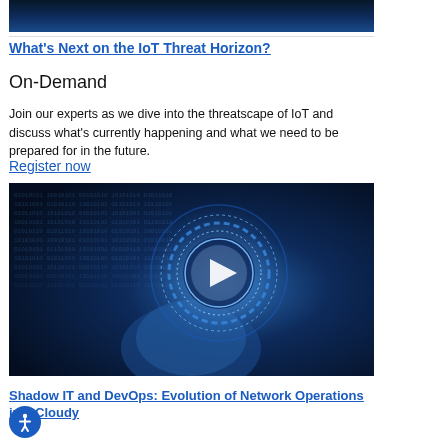[Figure (photo): Dark blue technology/IoT themed banner image at the top of the page]
What's Next on the IoT Threat Horizon?
On-Demand
Join our experts as we dive into the threatscape of IoT and discuss what's currently happening and what we need to be prepared for in the future.
Register now
[Figure (photo): Dark blue technology image showing a hand holding a glowing circular IoT interface with binary code overlay and a play button in the center]
Shadow IT and DevOps: Evolution of Network Operations in a Cloudy